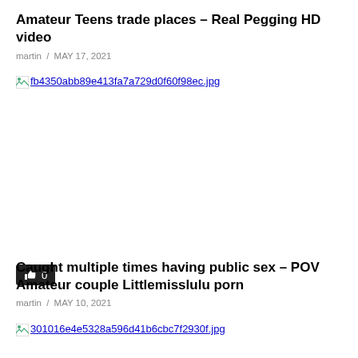Amateur Teens trade places – Real Pegging HD video
martin / MAY 17, 2021
[Figure (photo): Broken image placeholder showing filename: fb4350abb89e413fa7a729d0f60f98ec.jpg]
[Figure (other): Like button showing thumbs up icon and count 0]
Caught multiple times having public sex – POV Amateur couple Littlemisslulu porn
martin / MAY 10, 2021
[Figure (photo): Broken image placeholder showing filename: 301016e4e5328a596d41b6cbc7f2930f.jpg]